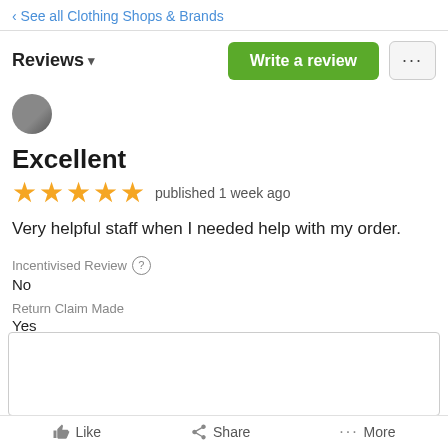‹ See all Clothing Shops & Brands
Reviews ▾
Excellent
★★★★★ published 1 week ago
Very helpful staff when I needed help with my order.
Incentivised Review ? No
Return Claim Made Yes
Sizing ? Slightly large
Like   Share   More